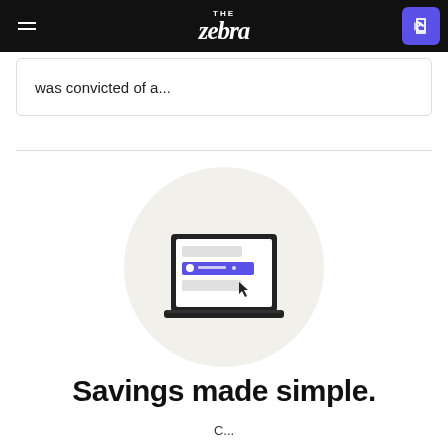THE ZEBRA
was convicted of a...
[Figure (illustration): Laptop computer illustration with a purple highlighted row and cursor, shown inside a light beige circular background]
Savings made simple.
C...